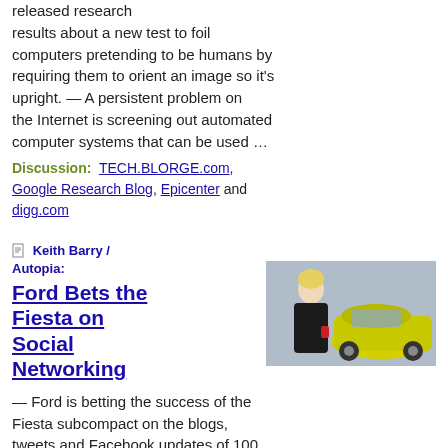released research results about a new test to foil computers pretending to be humans by requiring them to orient an image so it's upright.  —  A persistent problem on the Internet is screening out automated computer systems that can be used …
Discussion:  TECH.BLORGE.com, Google Research Blog, Epicenter and digg.com
Keith Barry / Autopia:
Ford Bets the Fiesta on Social Networking
[Figure (photo): Photo of a woman standing in front of a yellow/green Ford Fiesta car]
—  Ford is betting the success of the Fiesta subcompact on the blogs, tweets and Facebook updates of 100 people who will live with the cars and share their experiences online.  It's a hell of a gamble, but if it pays off, Ford just might recast itself …
Lidija Davis / ReadWriteWeb:
Security
[Figure (photo): Photo with a gold/orange textured surface]